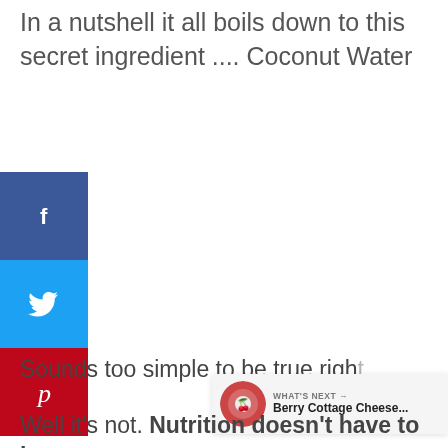In a nutshell it all boils down to this secret ingredient .... Coconut Water
[Figure (infographic): Social media share sidebar with Facebook (blue), Twitter (cyan), and Pinterest (red) buttons on the left side of the page]
[Figure (infographic): Floating action widget on the right side showing a teal heart button, count of 182, Wordmark logo, and share icon]
Sounds too simple to be true right
[Figure (infographic): What's Next overlay showing a circular food image and text: WHAT'S NEXT → Berry Cottage Cheese...]
Well it's not. Nutrition doesn't have to be